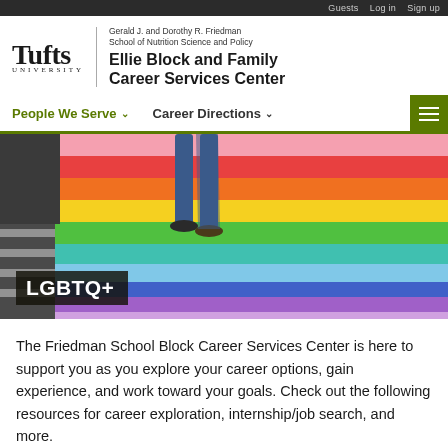Guests   Log in   Sign up
Tufts University — Gerald J. and Dorothy R. Friedman School of Nutrition Science and Policy — Ellie Block and Family Career Services Center
People We Serve ∨   Career Directions ∨
[Figure (photo): Person walking across a rainbow-painted crosswalk. Text overlay reads LGBTQ+]
The Friedman School Block Career Services Center is here to support you as you explore your career options, gain experience, and work toward your goals. Check out the following resources for career exploration, internship/job search, and more.